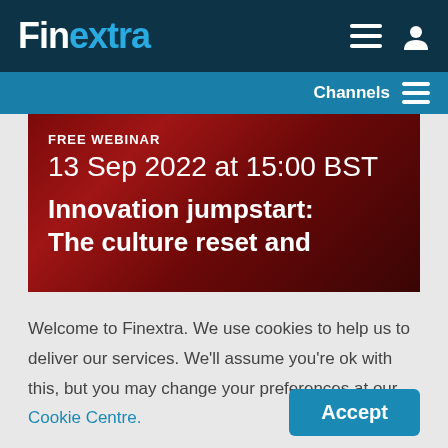Finextra
[Figure (screenshot): Finextra website navigation bar with logo, hamburger menu and user icon on dark teal background]
[Figure (screenshot): Channels bar with hamburger menu on blue background]
[Figure (screenshot): Finextra webinar banner: FREE WEBINAR - 13 Sep 2022 at 15:00 BST - Innovation jumpstart: The culture reset and [more text cut off], on dark red gradient background]
Welcome to Finextra. We use cookies to help us to deliver our services. We'll assume you're ok with this, but you may change your preferences at our Cookie Centre.

Please read our Privacy Policy.